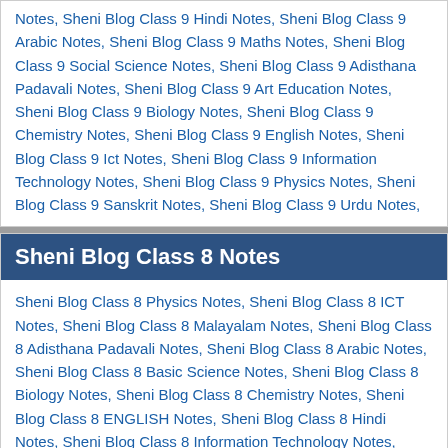Notes, Sheni Blog Class 9 Hindi Notes, Sheni Blog Class 9 Arabic Notes, Sheni Blog Class 9 Maths Notes, Sheni Blog Class 9 Social Science Notes, Sheni Blog Class 9 Adisthana Padavali Notes, Sheni Blog Class 9 Art Education Notes, Sheni Blog Class 9 Biology Notes, Sheni Blog Class 9 Chemistry Notes, Sheni Blog Class 9 English Notes, Sheni Blog Class 9 Ict Notes, Sheni Blog Class 9 Information Technology Notes, Sheni Blog Class 9 Physics Notes, Sheni Blog Class 9 Sanskrit Notes, Sheni Blog Class 9 Urdu Notes,
Sheni Blog Class 8 Notes
Sheni Blog Class 8 Physics Notes, Sheni Blog Class 8 ICT Notes, Sheni Blog Class 8 Malayalam Notes, Sheni Blog Class 8 Adisthana Padavali Notes, Sheni Blog Class 8 Arabic Notes, Sheni Blog Class 8 Basic Science Notes, Sheni Blog Class 8 Biology Notes, Sheni Blog Class 8 Chemistry Notes, Sheni Blog Class 8 ENGLISH Notes, Sheni Blog Class 8 Hindi Notes, Sheni Blog Class 8 Information Technology Notes, Sheni Blog Class 8 Mathematics Notes, Sheni Blog Class 8 Sanskrit Notes, Sheni Blog Class 8 Social Science Notes, Sheni Blog Class 8 Urdu Notes,
Sheni Blog Class 7th Notes
Sheni Blog Class 7 Hindi Notes, Sheni Blog Class 7 Malayalam Notes